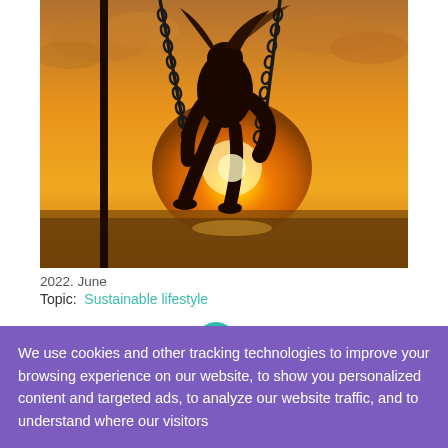[Figure (photo): Silhouette of a person on a swing at sunset over the ocean, with golden orange sky and swing chains visible]
2022. June
Topic:  Sustainable lifestyle
[Figure (logo): Teal circle icon with a tree/leaf symbol inside]
We use cookies and other tracking technologies to improve your browsing experience on our website, to show you personalized content and targeted ads, to analyze our website traffic, and to understand where our visitors